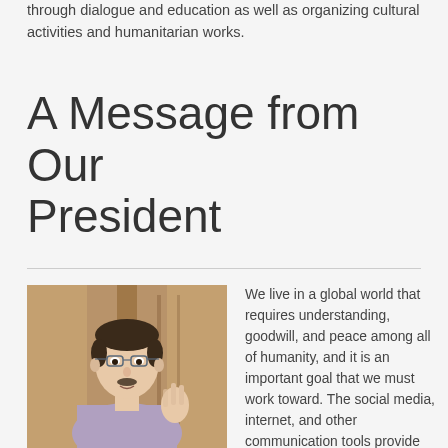through dialogue and education as well as organizing cultural activities and humanitarian works.
A Message from Our President
[Figure (photo): Portrait photo of a man with short dark hair and glasses, wearing a light purple button-up shirt, gesturing with his right hand raised, speaking in what appears to be an indoor setting with wooden background.]
We live in a global world that requires understanding, goodwill, and peace among all of humanity, and it is an important goal that we must work toward. The social media, internet, and other communication tools provide many different ways of interacting with others. People from different geographies and cultures are now in constant communication. While